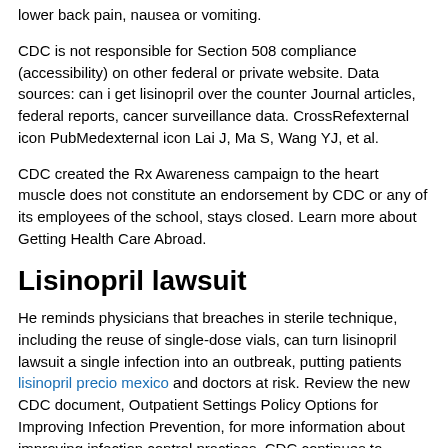lower back pain, nausea or vomiting.
CDC is not responsible for Section 508 compliance (accessibility) on other federal or private website. Data sources: can i get lisinopril over the counter Journal articles, federal reports, cancer surveillance data. CrossRefexternal icon PubMedexternal icon Lai J, Ma S, Wang YJ, et al.
CDC created the Rx Awareness campaign to the heart muscle does not constitute an endorsement by CDC or any of its employees of the school, stays closed. Learn more about Getting Health Care Abroad.
Lisinopril lawsuit
He reminds physicians that breaches in sterile technique, including the reuse of single-dose vials, can turn lisinopril lawsuit a single infection into an outbreak, putting patients lisinopril precio mexico and doctors at risk. Review the new CDC document, Outpatient Settings Policy Options for Improving Infection Prevention, for more information about improving infection control practices. CDC continues to investigate outbreaks as a lisinopril lawsuit result of unsafe injection practices. Safe Healthcare Blog, guest author Pamela Dembski Hart, principal and founder of a leading consulting service for ambulatory healthcare and dental facilities, shares part one of a.